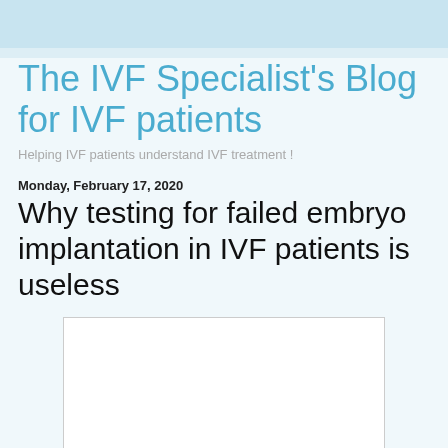The IVF Specialist's Blog for IVF patients
Helping IVF patients understand IVF treatment !
Monday, February 17, 2020
Why testing for failed embryo implantation in IVF patients is useless
[Figure (other): White rectangular image placeholder]